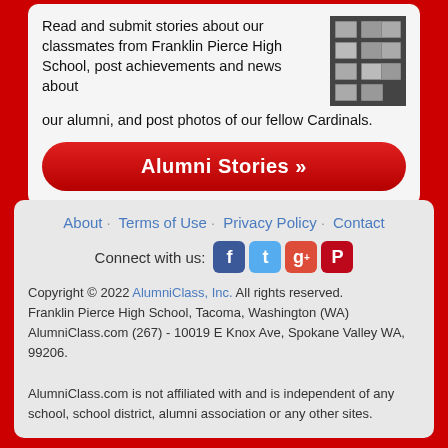Read and submit stories about our classmates from Franklin Pierce High School, post achievements and news about our alumni, and post photos of our fellow Cardinals.
[Figure (photo): Photo of framed pictures on a wall (dark/dim image showing a wall display of framed photographs)]
Alumni Stories »
About · Terms of Use · Privacy Policy · Contact
Connect with us: [Facebook] [Twitter] [Google+] [Pinterest]
Copyright © 2022 AlumniClass, Inc. All rights reserved. Franklin Pierce High School, Tacoma, Washington (WA) AlumniClass.com (267) - 10019 E Knox Ave, Spokane Valley WA, 99206. AlumniClass.com is not affiliated with and is independent of any school, school district, alumni association or any other sites.